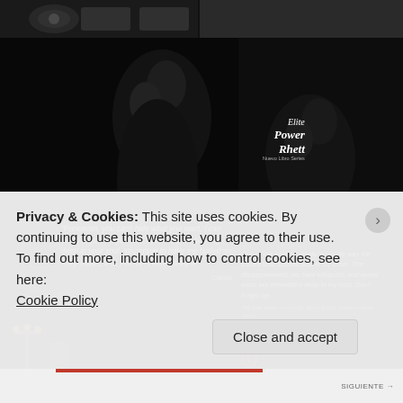[Figure (screenshot): Website screenshot showing romantic/dark book promotional images for 'Elite Power' series by P.T. Macias, with book covers featuring couples in romantic poses, book quotes, and author signatures on dark black backgrounds. Bottom portion shows a GDPR cookie consent banner overlay.]
"Princeesa, you can't hide what you want, I can see it in your huge hazel eyes. The fire burning deep in your soul. You crave to have me buried so deep inside, that you can't think straight!"

- Carlos
One of the best moments in my life was the instant that Isabelle was in my arms. The disappointment, her faint whispers, and sweet looks are embedded deep in my soul. Don't forget her.
The Elite power is coming. (Elliot Bridge Comes to Rest Soon)
P.T. Macias
Privacy & Cookies: This site uses cookies. By continuing to use this website, you agree to their use.
To find out more, including how to control cookies, see here:
Cookie Policy
Close and accept